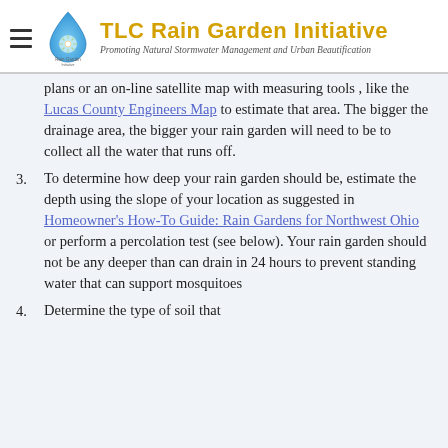[Figure (logo): TLC Rain Garden Initiative logo with water drop icon and text. Subtitle: Promoting Natural Stormwater Management and Urban Beautification]
plans or an on-line satellite map with measuring tools , like the Lucas County Engineers Map to estimate that area. The bigger the drainage area, the bigger your rain garden will need to be to collect all the water that runs off.
To determine how deep your rain garden should be, estimate the depth using the slope of your location as suggested in Homeowner's How-To Guide: Rain Gardens for Northwest Ohio or perform a percolation test (see below). Your rain garden should not be any deeper than can drain in 24 hours to prevent standing water that can support mosquitoes
Determine the type of soil that...